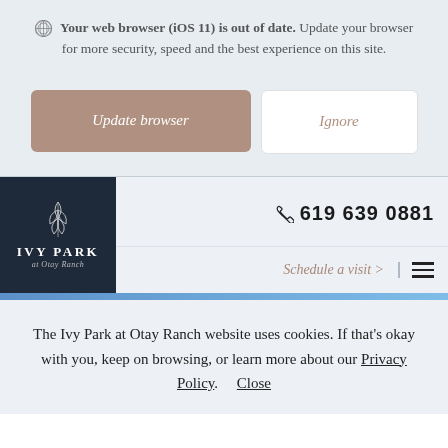Your web browser (iOS 11) is out of date. Update your browser for more security, speed and the best experience on this site.
[Figure (screenshot): Two buttons: 'Update browser' (mauve/tan filled) and 'Ignore' (white outlined)]
[Figure (logo): Ivy Park at Otay Ranch logo with leaf SVG on dark navy background]
619 639 0881
Schedule a visit >
The Ivy Park at Otay Ranch website uses cookies. If that's okay with you, keep on browsing, or learn more about our Privacy Policy. Close